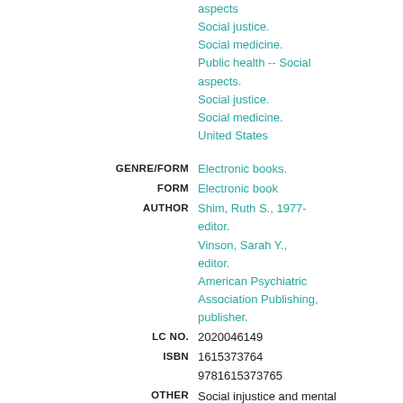aspects
Social justice.
Social medicine.
Public health -- Social aspects.
Social justice.
Social medicine.
United States
GENRE/FORM: Electronic books.
FORM: Electronic book
AUTHOR: Shim, Ruth S., 1977- editor.
Vinson, Sarah Y., editor.
American Psychiatric Association Publishing, publisher.
LC NO.: 2020046149
ISBN: 1615373764
9781615373765
OTHER TITLES: Social injustice and mental health